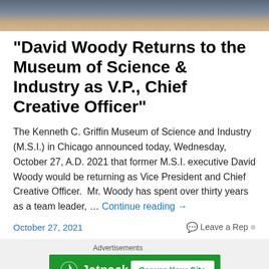[Figure (photo): Cropped photo showing top of a person's head/face against a dark blue background]
“David Woody Returns to the Museum of Science & Industry as V.P., Chief Creative Officer”
The Kenneth C. Griffin Museum of Science and Industry (M.S.I.) in Chicago announced today, Wednesday, October 27, A.D. 2021 that former M.S.I. executive David Woody would be returning as Vice President and Chief Creative Officer. Mr. Woody has spent over thirty years as a team leader, … Continue reading →
October 27, 2021     Leave a Reply
Advertisements
[Figure (screenshot): Jetpack advertisement banner with green background, Jetpack logo on left, and 'Secure Your Site' button on right]